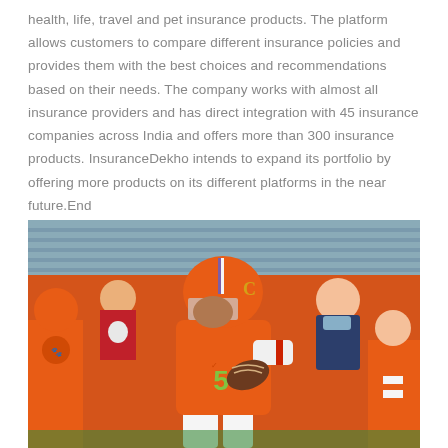health, life, travel and pet insurance products. The platform allows customers to compare different insurance policies and provides them with the best choices and recommendations based on their needs. The company works with almost all insurance providers and has direct integration with 45 insurance companies across India and offers more than 300 insurance products. InsuranceDekho intends to expand its portfolio by offering more products on its different platforms in the near future.End
[Figure (photo): A Clemson University football player wearing jersey number 5 in orange uniform running with the football. Other players and spectators visible in background wearing orange. A person in background wearing a blue mask.]